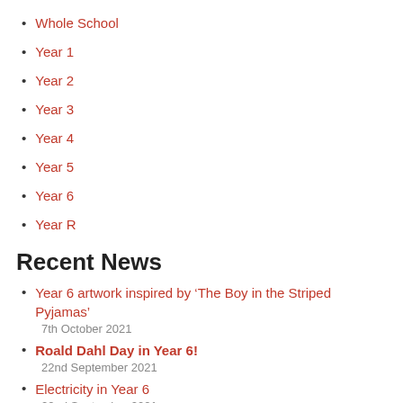Whole School
Year 1
Year 2
Year 3
Year 4
Year 5
Year 6
Year R
Recent News
Year 6 artwork inspired by ‘The Boy in the Striped Pyjamas’
7th October 2021
Roald Dahl Day in Year 6!
22nd September 2021
Electricity in Year 6
22nd September 2021